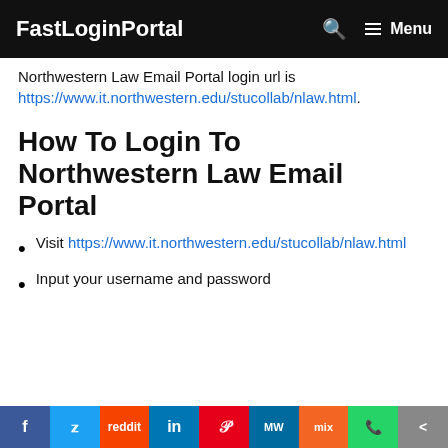FastLoginPortal  🔍  ☰ Menu
Northwestern Law Email Portal login url is https://www.it.northwestern.edu/stucollab/nlaw.html.
How To Login To Northwestern Law Email Portal
Visit https://www.it.northwestern.edu/stucollab/nlaw.html
Input your username and password
f  t  reddit  in  p  mW  mix  WhatsApp  share